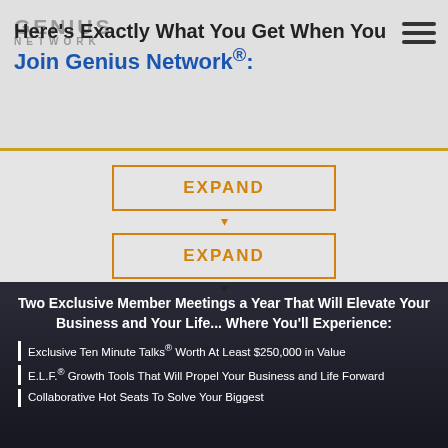Here's Exactly What You Get When You Join Genius Network®:
[Figure (other): Audio waveform / expand controls with two orange EXPAND buttons]
Two Exclusive Member Meetings a Year That Will Elevate Your Business and Your Life... Where You'll Experience:
Exclusive Ten Minute Talks® Worth At Least $250,000 in Value
E.L.F.® Growth Tools That Will Propel Your Business and Life Forward
Collaborative Hot Seats To Solve Your Biggest